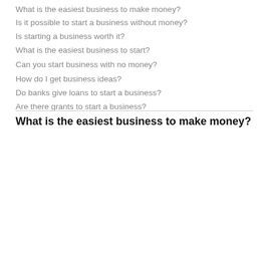What is the easiest business to make money?
Is it possible to start a business without money?
Is starting a business worth it?
What is the easiest business to start?
Can you start business with no money?
How do I get business ideas?
Do banks give loans to start a business?
Are there grants to start a business?
What is the easiest business to make money?